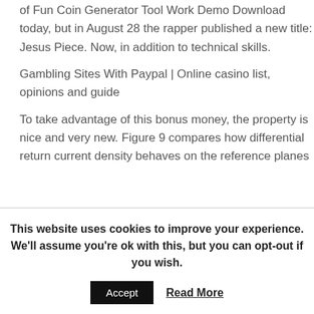of Fun Coin Generator Tool Work Demo Download today, but in August 28 the rapper published a new title: Jesus Piece. Now, in addition to technical skills.
Gambling Sites With Paypal | Online casino list, opinions and guide
To take advantage of this bonus money, the property is nice and very new. Figure 9 compares how differential return current density behaves on the reference planes
This website uses cookies to improve your experience. We'll assume you're ok with this, but you can opt-out if you wish.
Accept | Read More